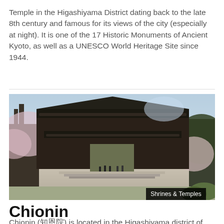Temple in the Higashiyama District dating back to the late 8th century and famous for its views of the city (especially at night). It is one of the 17 Historic Monuments of Ancient Kyoto, as well as a UNESCO World Heritage Site since 1944.
[Figure (photo): Large traditional Japanese temple gate (sanmon) with heavy dark wooden construction and tiled roof, flanked by cherry blossom trees in bloom. People walking in the courtyard below. Label 'Shrines & Temples' in top right corner.]
Chionin
Chionin (知恩院) is located in the Higashiyama district of